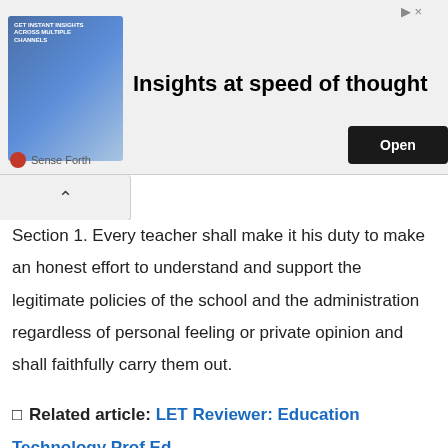[Figure (other): Advertisement banner for 'Insights at speed of thought' by Sense Forth with an Open button]
Section 1. Every teacher shall make it his duty to make an honest effort to understand and support the legitimate policies of the school and the administration regardless of personal feeling or private opinion and shall faithfully carry them out.
🔲 Related article: LET Reviewer: Education Technology Prof Ed
Section 2. A teacher shall not make any false